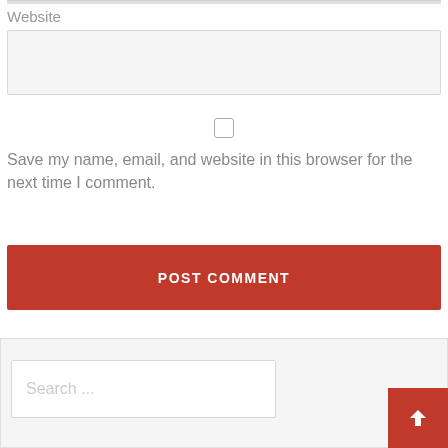Website
[Figure (screenshot): Empty website URL input field (text box with light gray background)]
[Figure (screenshot): Unchecked checkbox]
Save my name, email, and website in this browser for the next time I comment.
[Figure (screenshot): POST COMMENT button in red]
[Figure (screenshot): Search widget area with search input field placeholder 'Search ...' and a red scroll-to-top arrow button]